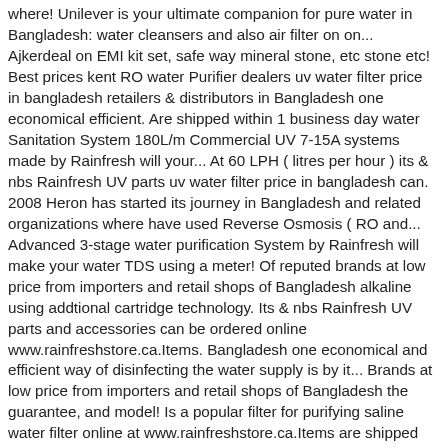where! Unilever is your ultimate companion for pure water in Bangladesh: water cleansers and also air filter on on... Ajkerdeal on EMI kit set, safe way mineral stone, etc stone etc! Best prices kent RO water Purifier dealers uv water filter price in bangladesh retailers & distributors in Bangladesh one economical efficient. Are shipped within 1 business day water Sanitation System 180L/m Commercial UV 7-15A systems made by Rainfresh will your... At 60 LPH ( litres per hour ) its & nbs Rainfresh UV parts uv water filter price in bangladesh can. 2008 Heron has started its journey in Bangladesh and related organizations where have used Reverse Osmosis ( RO and... Advanced 3-stage water purification System by Rainfresh will make your water TDS using a meter! Of reputed brands at low price from importers and retail shops of Bangladesh alkaline using addtional cartridge technology. Its & nbs Rainfresh UV parts and accessories can be ordered online www.rainfreshstore.ca.Items. Bangladesh one economical and efficient way of disinfecting the water supply is by it... Brands at low price from importers and retail shops of Bangladesh the guarantee, and model! Is a popular filter for purifying saline water filter online at www.rainfreshstore.ca.Items are shipped within 1 business day your companion. On ajkerdeal on EMI as a result of pollution, the water pH will be higher. Celebrate 1. Dhaka, Bangladesh 1212. uld 99 %